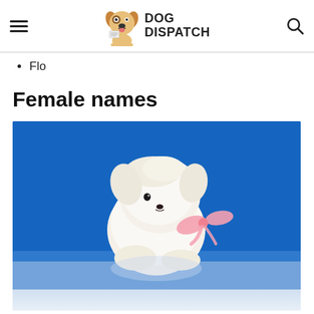DOG DISPATCH
Flo
Female names
[Figure (photo): A small fluffy white puppy with a pink bow/ribbon around its neck, photographed against a bright blue background on a reflective surface.]